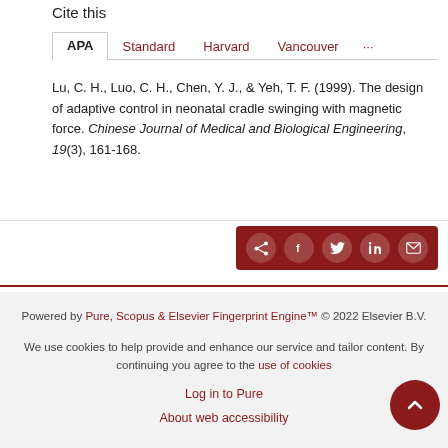Cite this
Lu, C. H., Luo, C. H., Chen, Y. J., & Yeh, T. F. (1999). The design of adaptive control in neonatal cradle swinging with magnetic force. Chinese Journal of Medical and Biological Engineering, 19(3), 161-168.
[Figure (other): Share bar with social media icons: share, Facebook, Twitter, LinkedIn, email on dark red background]
Powered by Pure, Scopus & Elsevier Fingerprint Engine™ © 2022 Elsevier B.V.
We use cookies to help provide and enhance our service and tailor content. By continuing you agree to the use of cookies
Log in to Pure
About web accessibility